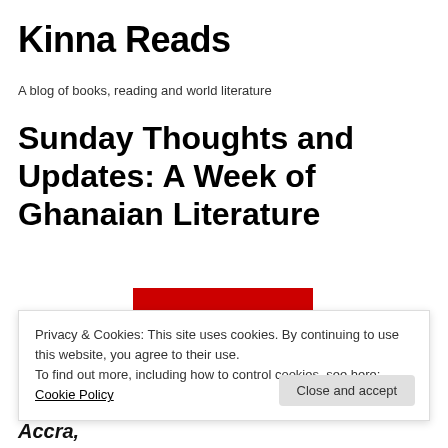Kinna Reads
A blog of books, reading and world literature
Sunday Thoughts and Updates: A Week of Ghanaian Literature
[Figure (illustration): Partial image of the Ghana flag showing red and yellow horizontal stripes]
Privacy & Cookies: This site uses cookies. By continuing to use this website, you agree to their use.
To find out more, including how to control cookies, see here: Cookie Policy
Close and accept
know, I'm from Ghana.  I live and blog from Accra,